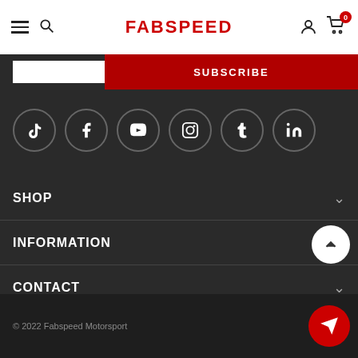FABSPEED
[Figure (screenshot): Subscribe input bar with red SUBSCRIBE button]
[Figure (infographic): Row of 6 social media icons in circles: TikTok, Facebook, YouTube, Instagram, Tumblr, LinkedIn]
SHOP
INFORMATION
CONTACT
© 2022 Fabspeed Motorsport